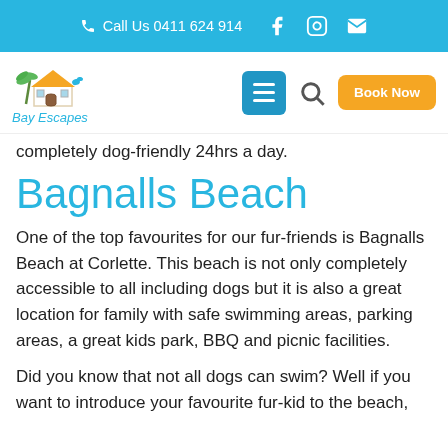Call Us 0411 624 914
[Figure (logo): Bay Escapes logo with a house and palm tree illustration, with text 'Bay Escapes' in blue script font]
completely dog-friendly 24hrs a day.
Bagnalls Beach
One of the top favourites for our fur-friends is Bagnalls Beach at Corlette. This beach is not only completely accessible to all including dogs but it is also a great location for family with safe swimming areas, parking areas, a great kids park, BBQ and picnic facilities.
Did you know that not all dogs can swim? Well if you want to introduce your favourite fur-kid to the beach, Bagnalls Beach is one of the best places to start.